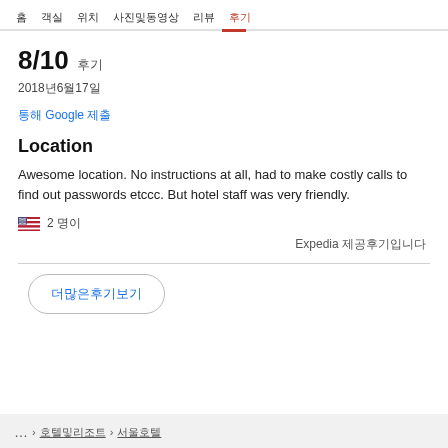홈  객실  위치  사진및동영상  리뷰  후기
8/10 후기
2018년6월17일
통해 Google 제출
Location
Awesome location. No instructions at all, had to make costly calls to find out passwords etccc. But hotel staff was very friendly.
🇺🇸  2 명이
Expedia 제공후기입니다
더많은후기보기
... > 호텔및리조트 > 서울호텔